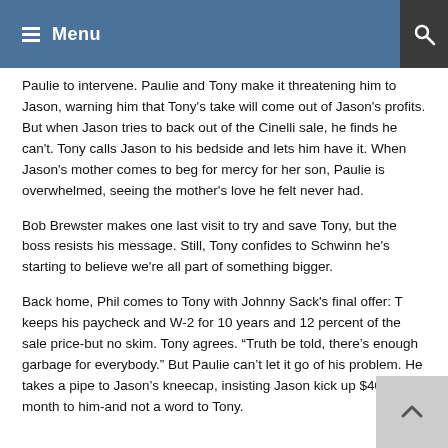Menu
Paulie to intervene. Paulie and Tony make it threatening him to Jason, warning him that Tony's take will come out of Jason's profits. But when Jason tries to back out of the Cinelli sale, he finds he can't. Tony calls Jason to his bedside and lets him have it. When Jason's mother comes to beg for mercy for her son, Paulie is overwhelmed, seeing the mother's love he felt never had.
Bob Brewster makes one last visit to try and save Tony, but the boss resists his message. Still, Tony confides to Schwinn he's starting to believe we're all part of something bigger.
Back home, Phil comes to Tony with Johnny Sack's final offer: T keeps his paycheck and W-2 for 10 years and 12 percent of the sale price-but no skim. Tony agrees. “Truth be told, there’s enough garbage for everybody.” But Paulie can’t let it go of his problem. He takes a pipe to Jason’s kneecap, insisting Jason kick up $4000 a month to him-and not a word to Tony.